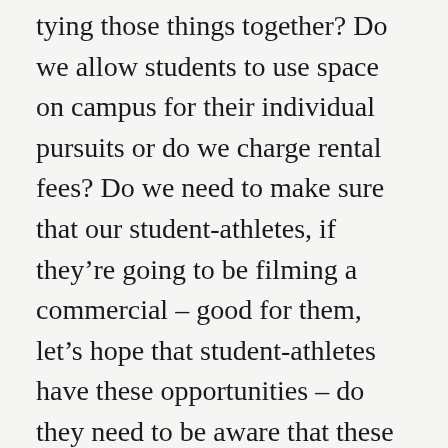tying those things together? Do we allow students to use space on campus for their individual pursuits or do we charge rental fees? Do we need to make sure that our student-athletes, if they're going to be filming a commercial – good for them, let's hope that student-athletes have these opportunities – do they need to be aware that these generally applicable policies in terms of access and use of campus facilities apply in this context too? Do we need to import rules making clear that while a student athlete is free, of course, to engage in NIL pursuits that those pursuits can't interfere with our expectations around team time. It's do it on your own time, not